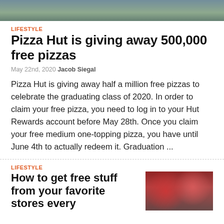[Figure (photo): Top portion of a building exterior with trees and glass facade visible]
LIFESTYLE
Pizza Hut is giving away 500,000 free pizzas
May 22nd, 2020 Jacob Siegal
Pizza Hut is giving away half a million free pizzas to celebrate the graduating class of 2020. In order to claim your free pizza, you need to log in to your Hut Rewards account before May 28th. Once you claim your free medium one-topping pizza, you have until June 4th to actually redeem it. Graduation ...
LIFESTYLE
How to get free stuff from your favorite stores every
[Figure (photo): Crowded store interior with people shopping, red decorations visible]